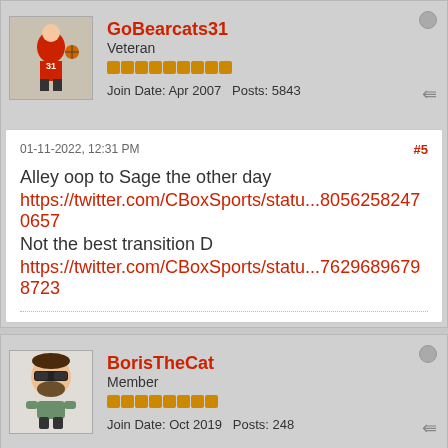GoBearcats31
Veteran
Join Date: Apr 2007   Posts: 5843
01-11-2022, 12:31 PM   #5
Alley oop to Sage the other day
https://twitter.com/CBoxSports/statu...80562582470657
Not the best transition D
https://twitter.com/CBoxSports/statu...76296896798723
BorisTheCat
Member
Join Date: Oct 2019   Posts: 248
01-14-2022, 03:50 PM   #6